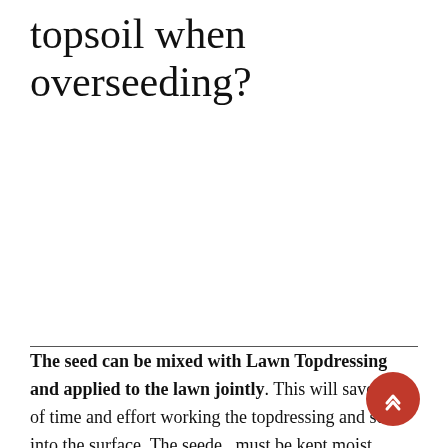topsoil when overseeding?
The seed can be mixed with Lawn Topdressing and applied to the lawn jointly. This will save a bit of time and effort working the topdressing and seed into the surface. The seeded must be kept moist, therefore, water your lawn after 2 or 3